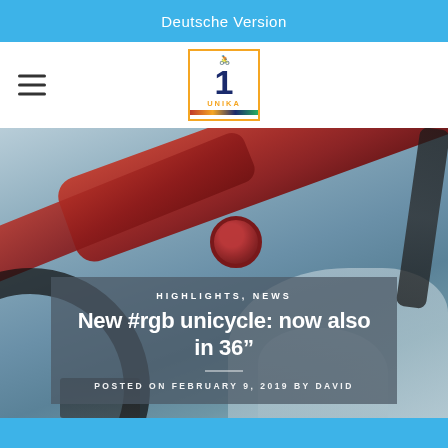Deutsche Version
[Figure (logo): Website logo showing number 1 with unicycle rider icon, colored bar below, text 'UNIKA' in orange letters, orange border box]
[Figure (photo): Close-up photo of a red/dark red unicycle frame tube and clamp with tire visible at bottom left, rocky background, blurred depth of field]
HIGHLIGHTS, NEWS
New #rgb unicycle: now also in 36"
POSTED ON FEBRUARY 9, 2019 BY DAVID